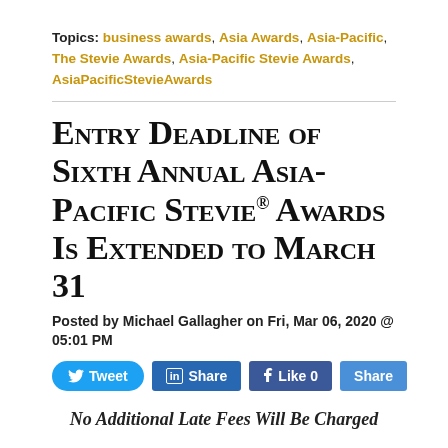Topics: business awards, Asia Awards, Asia-Pacific, The Stevie Awards, Asia-Pacific Stevie Awards, AsiaPacificStevieAwards
Entry Deadline of Sixth Annual Asia-Pacific Stevie® Awards Is Extended to March 31
Posted by Michael Gallagher on Fri, Mar 06, 2020 @ 05:01 PM
[Figure (infographic): Social sharing buttons: Tweet (Twitter), Share (LinkedIn), Like 0 (Facebook), Share]
No Additional Late Fees Will Be Charged
The Stevie® Awards, organizer of the world's